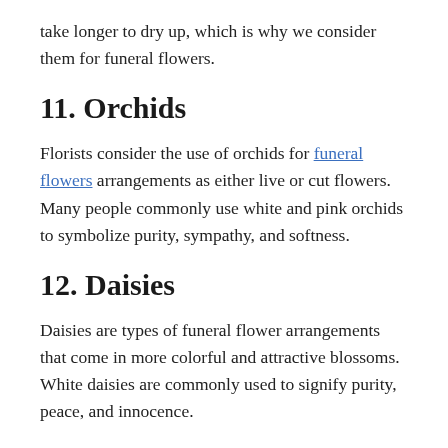take longer to dry up, which is why we consider them for funeral flowers.
11. Orchids
Florists consider the use of orchids for funeral flowers arrangements as either live or cut flowers. Many people commonly use white and pink orchids to symbolize purity, sympathy, and softness.
12. Daisies
Daisies are types of funeral flower arrangements that come in more colorful and attractive blossoms. White daisies are commonly used to signify purity, peace, and innocence.